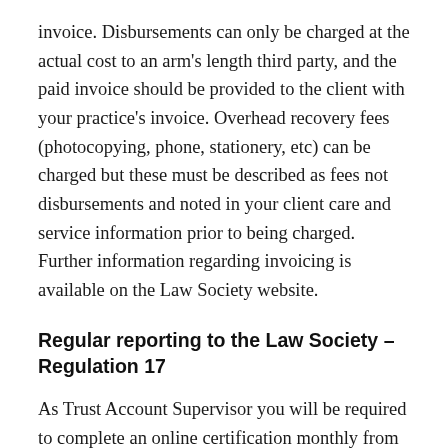invoice. Disbursements can only be charged at the actual cost to an arm's length third party, and the paid invoice should be provided to the client with your practice's invoice. Overhead recovery fees (photocopying, phone, stationery, etc) can be charged but these must be described as fees not disbursements and noted in your client care and service information prior to being charged. Further information regarding invoicing is available on the Law Society website.
Regular reporting to the Law Society – Regulation 17
As Trust Account Supervisor you will be required to complete an online certification monthly from when you open a trust account. Please ensure that the certificates are submitted as follows:
Monthly certificate: By the 10th working day of the